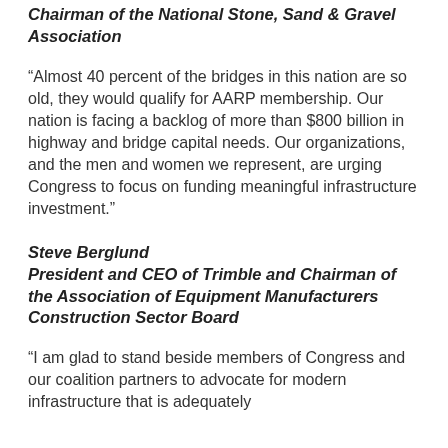Chairman of the National Stone, Sand & Gravel Association
“Almost 40 percent of the bridges in this nation are so old, they would qualify for AARP membership. Our nation is facing a backlog of more than $800 billion in highway and bridge capital needs. Our organizations, and the men and women we represent, are urging Congress to focus on funding meaningful infrastructure investment.”
Steve Berglund
President and CEO of Trimble and Chairman of the Association of Equipment Manufacturers Construction Sector Board
“I am glad to stand beside members of Congress and our coalition partners to advocate for modern infrastructure that is adequately